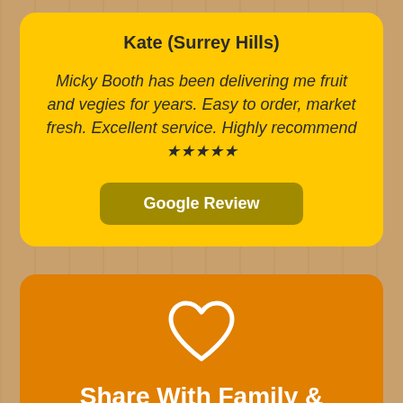Kate (Surrey Hills)
Micky Booth has been delivering me fruit and vegies for years. Easy to order, market fresh. Excellent service. Highly recommend ★★★★★
Google Review
Share With Family & Friends!